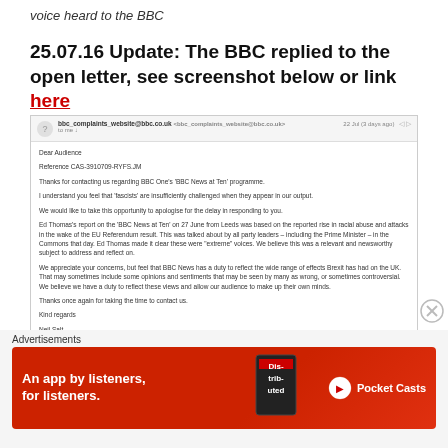voice heard to the BBC
25.07.16 Update: The BBC replied to the open letter, see screenshot below or link here
[Figure (screenshot): Screenshot of a BBC complaints email reply dated 22 Jul (3 days ago) from bbc_complaints_website@bbc.co.uk. Email begins: Dear Audience, Reference CAS-3910709-RYFS.JM. Thanks for contacting us regarding BBC One's 'BBC News at Ten' programme. I understand you feel that 'fascists' are insufficiently challenged when they appear in our output. We would like to take this opportunity to apologise for the delay in responding to you. Ed Thomas's report on the 'BBC News at Ten' on 27 June from Leeds was based on the reported rise in racial abuse and attacks in the wake of the EU Referendum result. This was talked about by all party leaders – including the Prime Minister – in the Commons that day. Ed Thomas made it clear these were 'extreme' voices. We believe this was a relevant and newsworthy subject to address and reflect on. We appreciate your concerns, but feel that BBC News has a duty to reflect the wide range of effects Brexit has had on the UK. That may sometimes include some opinions and sentiments that may be seen by many as wrong, or sometimes controversial. We believe we have a duty to reflect these views and allow our audience to make up their own minds. Thanks once again for taking the time to contact us. Kind regards, Neil Salt, BBC Complaints Team, www.bbc.co.uk/complaints]
Advertisements
[Figure (illustration): Red advertisement banner for Pocket Casts: 'An app by listeners, for listeners.' with a stylized book/phone graphic and Pocket Casts logo on right]